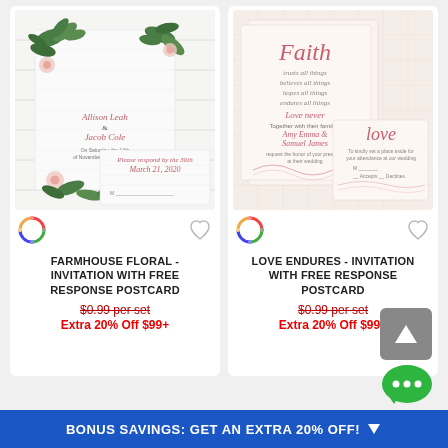[Figure (photo): Farmhouse Floral wedding invitation set with greenery floral design on white wood background, shown with response postcard]
FARMHOUSE FLORAL - INVITATION WITH FREE RESPONSE POSTCARD
$0.99 per set
Extra 20% Off $99+
[Figure (photo): Love Endures wedding invitation set with pink script calligraphy on blush background, shown with response postcard]
LOVE ENDURES - INVITATION WITH FREE RESPONSE POSTCARD
$0.99 per set
Extra 20% Off $99+
BONUS SAVINGS: GET AN EXTRA 20% OFF!